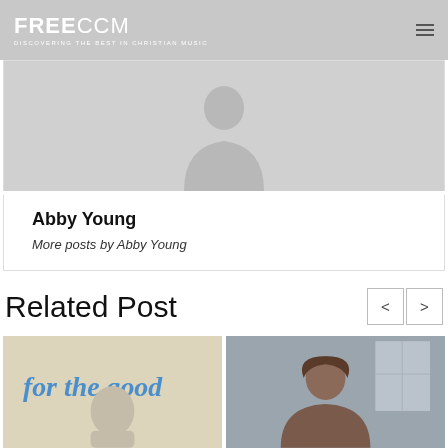FREECCM – DISCOVERING THE BEST IN CHRISTIAN MUSIC
[Figure (illustration): Default user avatar placeholder image (silhouette of person on grey background)]
Abby Young
More posts by Abby Young
Related Post
[Figure (photo): Album cover for 'for the good' with blue text and illustration]
[Figure (photo): Photo of a woman with long brown hair indoors]